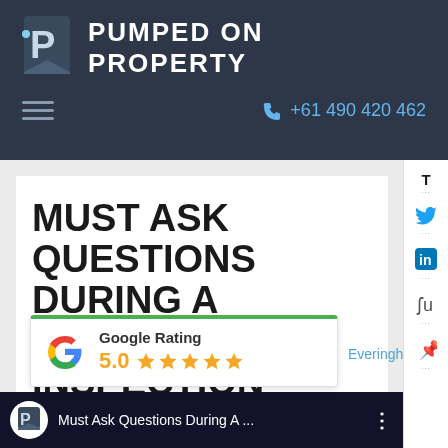[Figure (logo): Pumped on Property logo with P icon and text PUMPED ON PROPERTY]
+61 490 420 462
MUST ASK QUESTIONS DURING A PROPERTY INSPECTION
[Figure (other): Google Rating widget showing 5.0 stars]
Everingham —
[Figure (screenshot): Video thumbnail bar showing Must Ask Questions During A...]